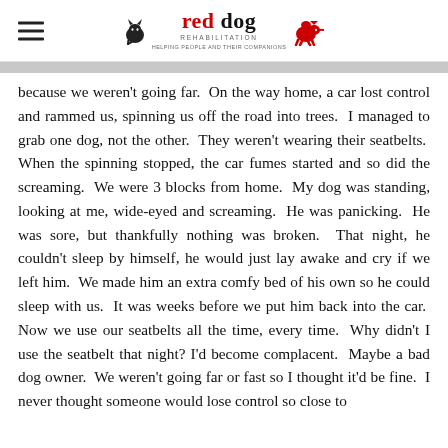red dog rehabilitation
because we weren't going far.  On the way home, a car lost control and rammed us, spinning us off the road into trees.  I managed to grab one dog, not the other.  They weren't wearing their seatbelts.  When the spinning stopped, the car fumes started and so did the screaming.  We were 3 blocks from home.  My dog was standing, looking at me, wide-eyed and screaming.  He was panicking.  He was sore, but thankfully nothing was broken.  That night, he couldn't sleep by himself, he would just lay awake and cry if we left him.  We made him an extra comfy bed of his own so he could sleep with us.  It was weeks before we put him back into the car.  Now we use our seatbelts all the time, every time.  Why didn't I use the seatbelt that night?  I'd become complacent.  Maybe a bad dog owner.  We weren't going far or fast so I thought it'd be fine.  I never thought someone would lose control so close to